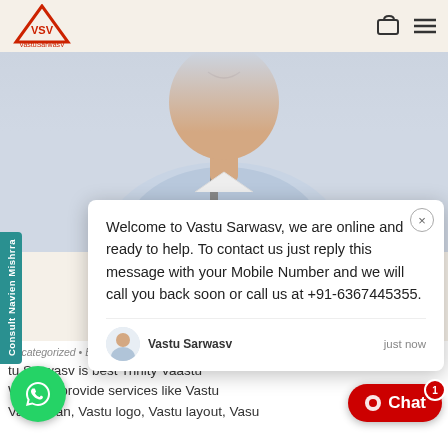[Figure (logo): VastuSarwasV logo - red triangle with VSV text]
[Figure (photo): Photo of a man smiling, wearing a light blue/grey jacket, cropped to show face and upper body]
Welcome to Vastu Sarwasv, we are online and ready to help. To contact us just reply this message with your Mobile Number and we will call you back soon or call us at +91-6367445355.
Vastu Sarwasv
just now
Consult Navien Mishrra
Uncategorized • By Webprint Jaipur • April 23, 2020
tu Sarwasv is best Trinity Vaastu... We also provide services like Vastu... Vastu loan, Vastu logo, Vastu layout, Vasu